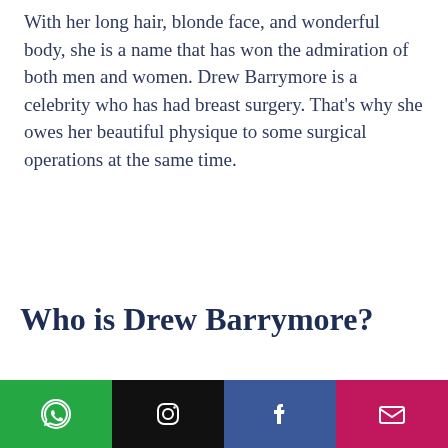With her long hair, blonde face, and wonderful body, she is a name that has won the admiration of both men and women. Drew Barrymore is a celebrity who has had breast surgery. That's why she owes her beautiful physique to some surgical operations at the same time.
Who is Drew Barrymore?
Drew Barrymore herself and her family are quite marginal. The actress, who became famous at a very young age by playing in the famous movie E.T., later had many
[Figure (infographic): Bottom navigation bar with four colored buttons: green WhatsApp icon, black Instagram icon, dark blue Facebook icon, pink/magenta email icon]